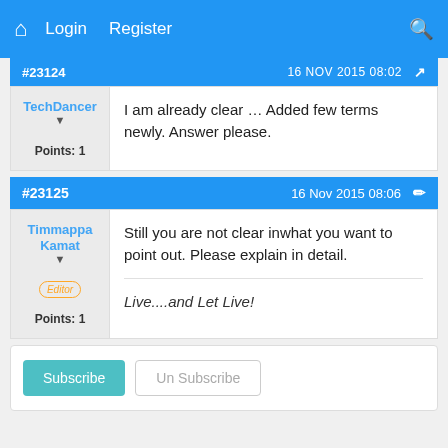Login  Register
#23124  16 Nov 2015 08:02
TechDancer  Points: 1  I am already clear … Added few terms newly. Answer please.
#23125  16 Nov 2015 08:06
Timmappa Kamat  Editor  Points: 1  Still you are not clear inwhat you want to point out. Please explain in detail.  Live....and Let Live!
Subscribe  Un Subscribe